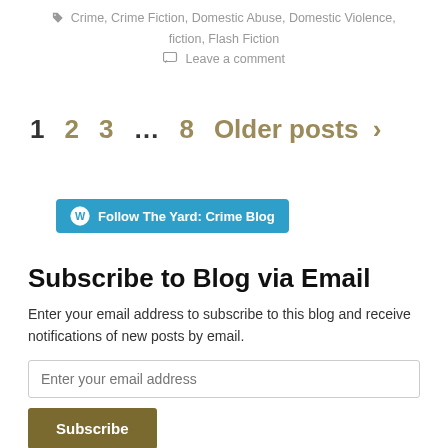Crime, Crime Fiction, Domestic Abuse, Domestic Violence, fiction, Flash Fiction
Leave a comment
1  2  3  ...  8  Older posts >
[Figure (other): Follow The Yard: Crime Blog button with WordPress icon]
Subscribe to Blog via Email
Enter your email address to subscribe to this blog and receive notifications of new posts by email.
Enter your email address
Subscribe